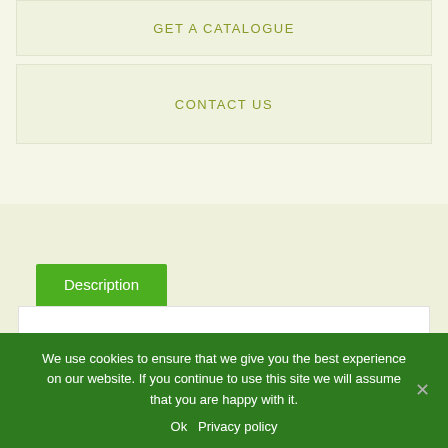GET A CATALOGUE
CONTACT US
Description
Buckwheat is good to scavenge phosphate in the soil, which it can make available for subsequent
We use cookies to ensure that we give you the best experience on our website. If you continue to use this site we will assume that you are happy with it.
Ok  Privacy policy